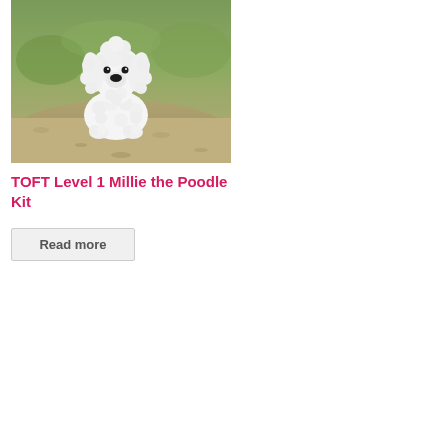[Figure (photo): A crocheted white poodle toy sitting outdoors on dirt ground with green grass in the background. The amigurumi poodle has curly white yarn, a black nose, and floppy ears.]
TOFT Level 1 Millie the Poodle Kit
Read more